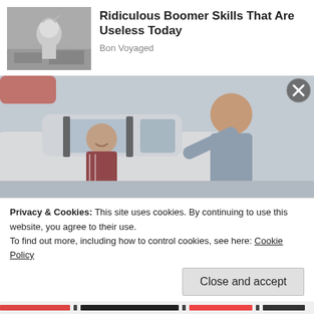[Figure (photo): Black and white vintage photo of a woman looking stressed in a kitchen]
Ridiculous Boomer Skills That Are Useless Today
Bon Voyaged
[Figure (photo): Color photo of two men at a car dealership, one sitting in a car and one leaning over talking to him]
Privacy & Cookies: This site uses cookies. By continuing to use this website, you agree to their use.
To find out more, including how to control cookies, see here: Cookie Policy
Close and accept